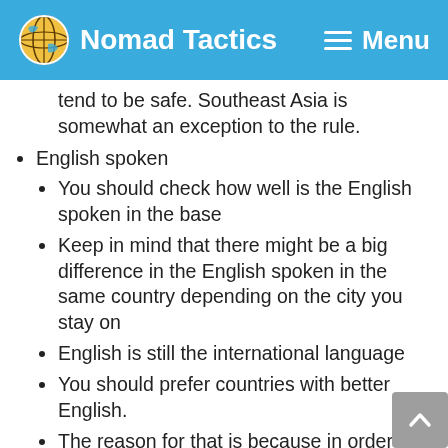Nomad Tactics — Menu
tend to be safe. Southeast Asia is somewhat an exception to the rule.
English spoken
You should check how well is the English spoken in the base
Keep in mind that there might be a big difference in the English spoken in the same country depending on the city you stay on
English is still the international language
You should prefer countries with better English.
The reason for that is because in order for you to have an effortless day-to-day life you need to be able to communicate with others effectively.